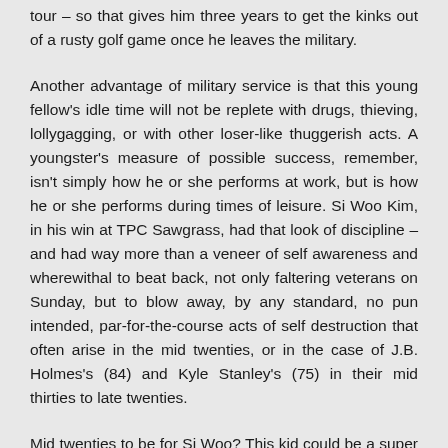tour – so that gives him three years to get the kinks out of a rusty golf game once he leaves the military.
Another advantage of military service is that this young fellow's idle time will not be replete with drugs, thieving, lollygagging, or with other loser-like thuggerish acts. A youngster's measure of possible success, remember, isn't simply how he or she performs at work, but is how he or she performs during times of leisure. Si Woo Kim, in his win at TPC Sawgrass, had that look of discipline – and had way more than a veneer of self awareness and wherewithal to beat back, not only faltering veterans on Sunday, but to blow away, by any standard, no pun intended, par-for-the-course acts of self destruction that often arise in the mid twenties, or in the case of J.B. Holmes's (84) and Kyle Stanley's (75) in their mid thirties to late twenties.
Mid twenties to be for Si Woo? This kid could be a super shooter forever.